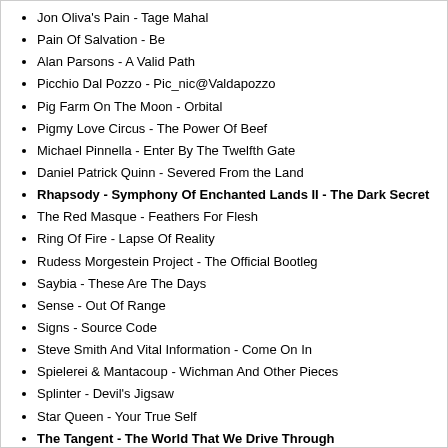Jon Oliva's Pain - Tage Mahal
Pain Of Salvation - Be
Alan Parsons - A Valid Path
Picchio Dal Pozzo - Pic_nic@Valdapozzo
Pig Farm On The Moon - Orbital
Pigmy Love Circus - The Power Of Beef
Michael Pinnella - Enter By The Twelfth Gate
Daniel Patrick Quinn - Severed From the Land
Rhapsody - Symphony Of Enchanted Lands II - The Dark Secret
The Red Masque - Feathers For Flesh
Ring Of Fire - Lapse Of Reality
Rudess Morgestein Project - The Official Bootleg
Saybia - These Are The Days
Sense - Out Of Range
Signs - Source Code
Steve Smith And Vital Information - Come On In
Spielerei & Mantacoup - Wichman And Other Pieces
Splinter - Devil's Jigsaw
Star Queen - Your True Self
The Tangent - The World That We Drive Through
Taproban - Outside Nowhere
Trio 96 - Quartet '99
Trio 96 - Duo '03
Triangle - Retreat
Tsukinuomi - Sivle Redyc Chowder
Twelfth Night - Live At The Target